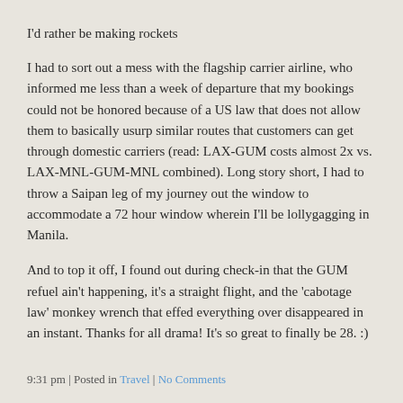I'd rather be making rockets
I had to sort out a mess with the flagship carrier airline, who informed me less than a week of departure that my bookings could not be honored because of a US law that does not allow them to basically usurp similar routes that customers can get through domestic carriers (read: LAX-GUM costs almost 2x vs. LAX-MNL-GUM-MNL combined). Long story short, I had to throw a Saipan leg of my journey out the window to accommodate a 72 hour window wherein I'll be lollygagging in Manila.
And to top it off, I found out during check-in that the GUM refuel ain't happening, it's a straight flight, and the 'cabotage law' monkey wrench that effed everything over disappeared in an instant. Thanks for all drama! It's so great to finally be 28. :)
9:31 pm | Posted in Travel | No Comments